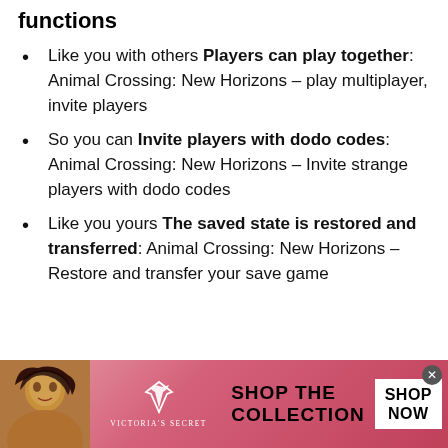functions
Like you with others Players can play together: Animal Crossing: New Horizons – play multiplayer, invite players
So you can Invite players with dodo codes: Animal Crossing: New Horizons – Invite strange players with dodo codes
Like you yours The saved state is restored and transferred: Animal Crossing: New Horizons – Restore and transfer your save game
[Figure (photo): Victoria's Secret advertisement banner with a woman's photo on the left, VS logo in the center, 'SHOP THE COLLECTION' text, and a white 'SHOP NOW' button on the right]